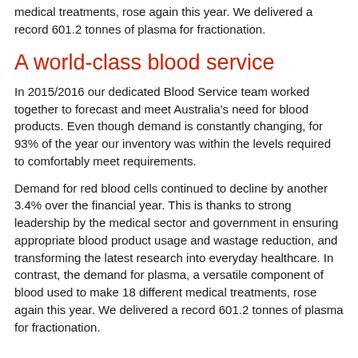medical treatments, rose again this year. We delivered a record 601.2 tonnes of plasma for fractionation.
A world-class blood service
In 2015/2016 our dedicated Blood Service team worked together to forecast and meet Australia's need for blood products. Even though demand is constantly changing, for 93% of the year our inventory was within the levels required to comfortably meet requirements.
Demand for red blood cells continued to decline by another 3.4% over the financial year. This is thanks to strong leadership by the medical sector and government in ensuring appropriate blood product usage and wastage reduction, and transforming the latest research into everyday healthcare. In contrast, the demand for plasma, a versatile component of blood used to make 18 different medical treatments, rose again this year. We delivered a record 601.2 tonnes of plasma for fractionation.